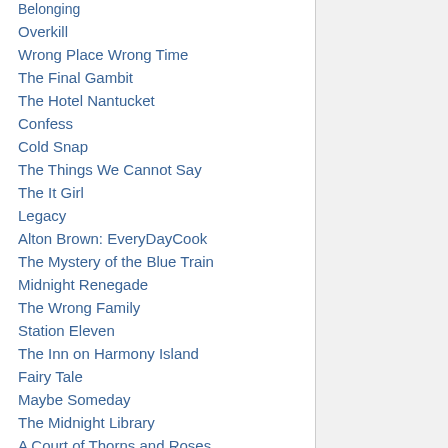Belonging
Overkill
Wrong Place Wrong Time
The Final Gambit
The Hotel Nantucket
Confess
Cold Snap
The Things We Cannot Say
The It Girl
Legacy
Alton Brown: EveryDayCook
The Mystery of the Blue Train
Midnight Renegade
The Wrong Family
Station Eleven
The Inn on Harmony Island
Fairy Tale
Maybe Someday
The Midnight Library
A Court of Thorns and Roses
The Silent Patient